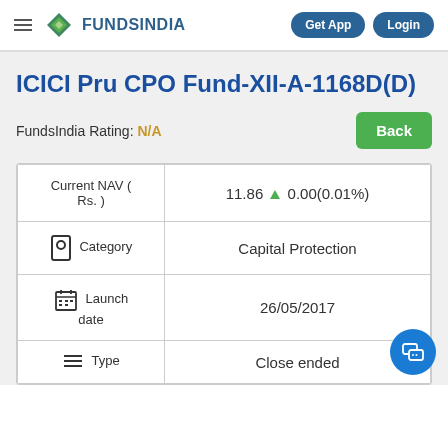FundsIndia — Get App  Login
ICICI Pru CPO Fund-XII-A-1168D(D)
FundsIndia Rating: N/A
|  |  |
| --- | --- |
| Current NAV ( Rs. ) | 11.86 ▲ 0.00(0.01%) |
| Category | Capital Protection |
| Launch date | 26/05/2017 |
| Type | Close ended |